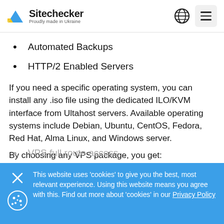Sitechecker — Proudly made in Ukraine
Automated Backups
HTTP/2 Enabled Servers
If you need a specific operating system, you can install any .iso file using the dedicated ILO/KVM interface from Ultahost servers. Available operating systems include Debian, Ubuntu, CentOS, Fedora, Red Hat, Alma Linux, and Windows server.
By choosing any VPS package, you get:
VPS full route access
This website uses 'cookies' to give you the best, most relevant experience. Using this website means you agree with this. Find out more about 'cookies' in our Privacy Policy